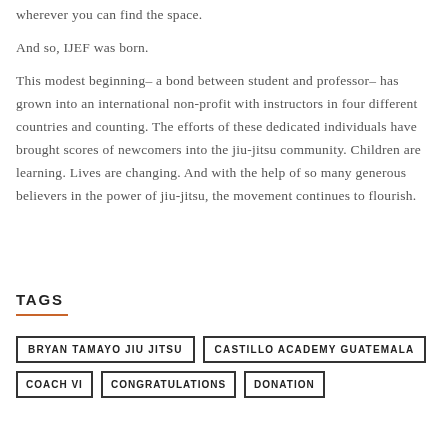wherever you can find the space.
And so, IJEF was born.
This modest beginning– a bond between student and professor– has grown into an international non-profit with instructors in four different countries and counting. The efforts of these dedicated individuals have brought scores of newcomers into the jiu-jitsu community. Children are learning. Lives are changing. And with the help of so many generous believers in the power of jiu-jitsu, the movement continues to flourish.
TAGS
BRYAN TAMAYO JIU JITSU
CASTILLO ACADEMY GUATEMALA
COACH VI
CONGRATULATIONS
DONATION